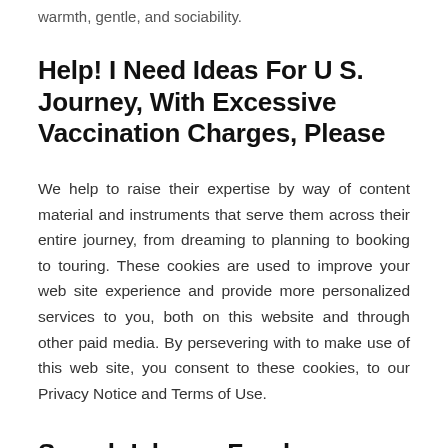warmth, gentle, and sociability.
Help! I Need Ideas For U S. Journey, With Excessive Vaccination Charges, Please
We help to raise their expertise by way of content material and instruments that serve them across their entire journey, from dreaming to planning to booking to touring. These cookies are used to improve your web site experience and provide more personalized services to you, both on this website and through other paid media. By persevering with to make use of this web site, you consent to these cookies, to our Privacy Notice and Terms of Use.
Search Ishares Funds